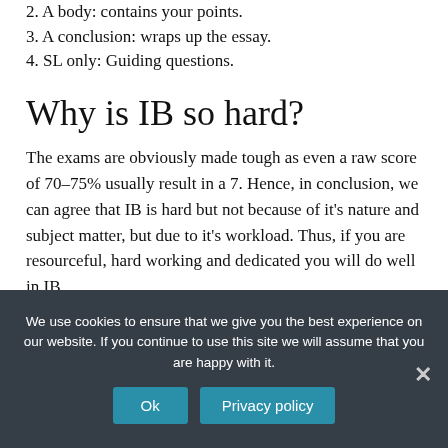2. A body: contains your points.
3. A conclusion: wraps up the essay.
4. SL only: Guiding questions.
Why is IB so hard?
The exams are obviously made tough as even a raw score of 70–75% usually result in a 7. Hence, in conclusion, we can agree that IB is hard but not because of it's nature and subject matter, but due to it's workload. Thus, if you are resourceful, hard working and dedicated you will do well in IB.
We use cookies to ensure that we give you the best experience on our website. If you continue to use this site we will assume that you are happy with it.